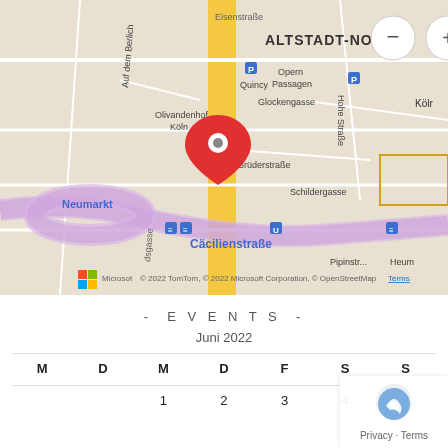[Figure (map): Bing Maps street map showing Altstadt-Nord area in Köln (Cologne), Germany. A red location pin is placed near Glockengasse/Schildergasse intersection. Map controls include zoom in/out buttons and a 'Road' view selector. Visible street names include Eisenstraße, Hohe Straße, Brüderstraße, Schildergasse, Cäcilienstraße, Pipinstraße, Neumarkt. Scale bar shows 500 feet / 250 m. Copyright notice: © 2022 TomTom, © 2022 Microsoft Corporation, © OpenStreetMap Terms]
- EVENTS -
Juni 2022
| M | D | M | D | F | S | S |
| --- | --- | --- | --- | --- | --- | --- |
|  |  | 1 | 2 | 3 | 4 |  |